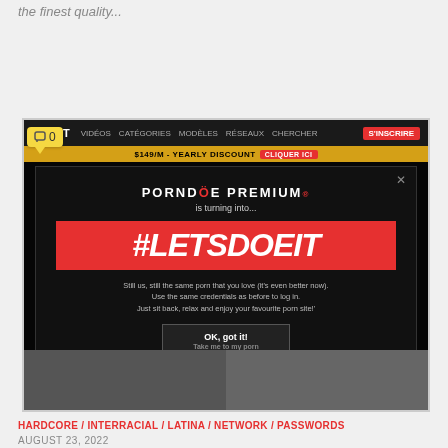the finest quality...
[Figure (screenshot): Screenshot of the PornDoe Premium website showing a modal popup announcing the rebranding to #LETSDOEIT, with text 'PORNDOE PREMIUM is turning into... #LETSDOEIT. Still us, still the same porn that you love (it's even better now). Use the same credentials as before to log in. Just sit back, relax and enjoy your favourite porn site!' and an 'OK, got it! Take me to my porn' button.]
HARDCORE / INTERRACIAL / LATINA / NETWORK / PASSWORDS
AUGUST 23, 2022